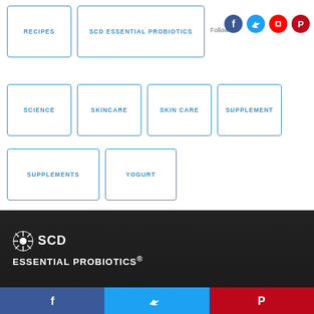RECIPES
SCD ESSENTIAL PROBIOTICS
SCIENCE
SKINCARE
SKIN CARE
SUPPLEMENT
SUPPLEMENTS
YOGURT
Follow
[Figure (logo): SCD Essential Probiotics logo with sun/rays icon on dark background]
[Figure (infographic): Three social sharing buttons: Facebook (blue), Twitter (light blue), Pinterest (red)]